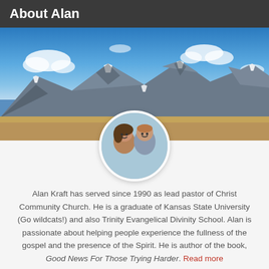About Alan
[Figure (photo): Mountain landscape with snow-capped peaks under a blue sky with clouds, and a flat valley/plain in the foreground. A circular portrait inset shows a man and woman smiling.]
Alan Kraft has served since 1990 as lead pastor of Christ Community Church. He is a graduate of Kansas State University (Go wildcats!) and also Trinity Evangelical Divinity School. Alan is passionate about helping people experience the fullness of the gospel and the presence of the Spirit. He is author of the book, Good News For Those Trying Harder. Read more